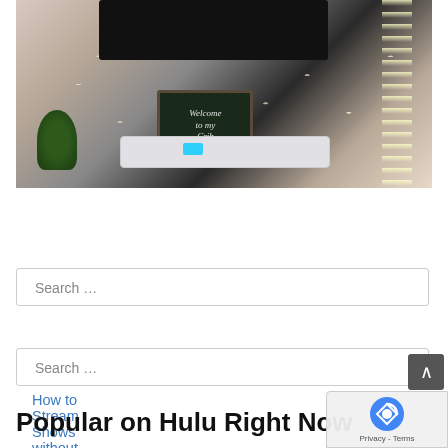[Figure (photo): Interior room decorated with string fairy lights draped on walls, green ivy garlands, a dark TV mounted on the wall, a chalkboard sign reading 'Welcome to my Crib', a white TV stand, and a potted green plant on the left.]
How to Stream Shows without a Smart TV
Try Amazon Prime 30-Day Free Trial
Popular on Hulu Right Now